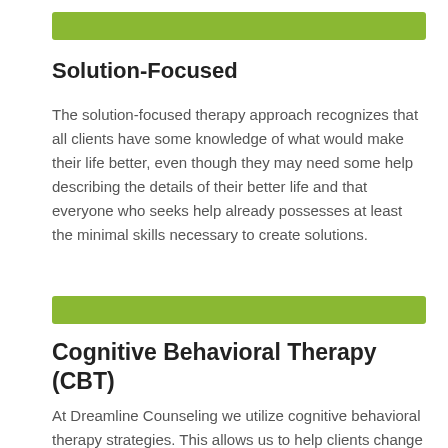[Figure (other): Green decorative horizontal bar]
Solution-Focused
The solution-focused therapy approach recognizes that all clients have some knowledge of what would make their life better, even though they may need some help describing the details of their better life and that everyone who seeks help already possesses at least the minimal skills necessary to create solutions.
[Figure (other): Green decorative horizontal bar]
Cognitive Behavioral Therapy (CBT)
At Dreamline Counseling we utilize cognitive behavioral therapy strategies. This allows us to help clients change unhelpful thinking and